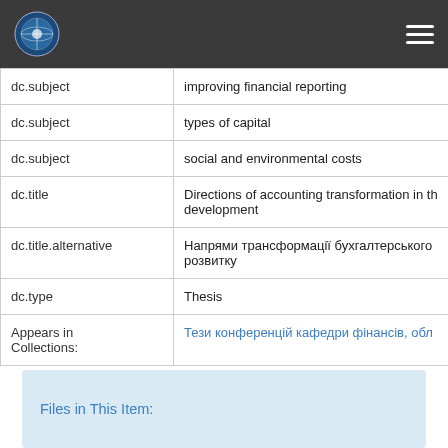[Navigation header with logo and hamburger menu]
| Field | Value |
| --- | --- |
| dc.subject | improving financial reporting |
| dc.subject | types of capital |
| dc.subject | social and environmental costs |
| dc.title | Directions of accounting transformation in the... development |
| dc.title.alternative | Напрями трансформації бухгалтерського... розвитку |
| dc.type | Thesis |
| Appears in Collections: | Тези конференцій кафедри фінансів, обл... |
Files in This Item: